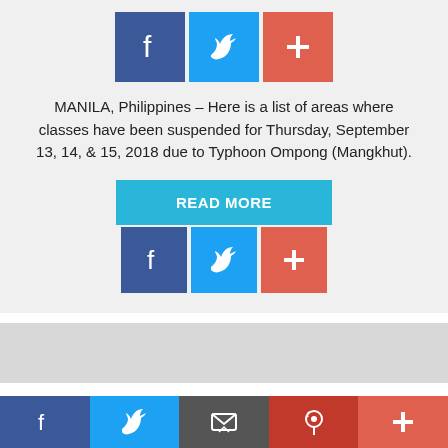[Figure (infographic): Social share buttons: Facebook (dark blue), Twitter (light blue), Plus/share (red-orange) - top row]
MANILA, Philippines – Here is a list of areas where classes have been suspended for Thursday, September 13, 14, & 15, 2018 due to Typhoon Ompong (Mangkhut).
[Figure (infographic): READ MORE button (cyan/light blue) followed by social share buttons: Facebook, Twitter, Plus]
This website uses cookies to improve your experience. We'll assume you're ok with this, but you can opt-out if you wish.
[Figure (infographic): Bottom navigation bar with Facebook, Twitter, Mail, Pinterest, and Plus share icons]